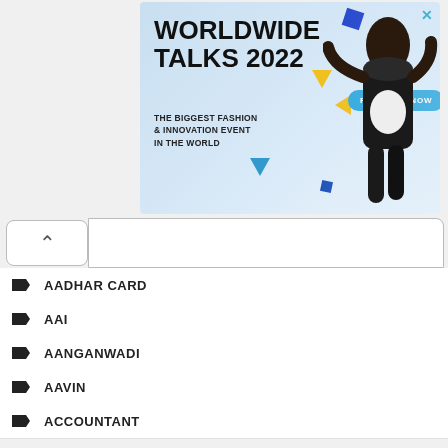[Figure (other): Advertisement banner for Worldwide Talks 2022 - The Biggest Fashion & Innovation Event in the World, with a Register Now button and a fashion model image]
AADHAR CARD
AAI
AANGANWADI
AAVIN
ACCOUNTANT
ADMINISTRATIVE REFORMS AND RAJBHASHA
ADVOCATE
AGRICULTURE
AGRICULTURE OFFICER